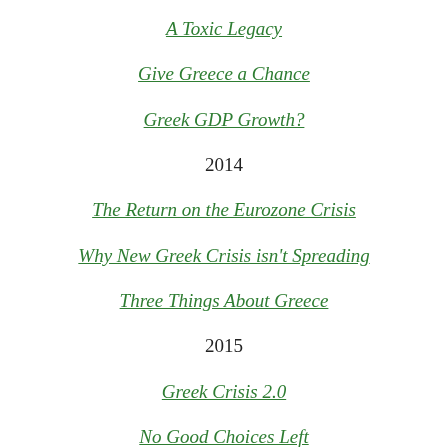A Toxic Legacy
Give Greece a Chance
Greek GDP Growth?
2014
The Return on the Eurozone Crisis
Why New Greek Crisis isn't Spreading
Three Things About Greece
2015
Greek Crisis 2.0
No Good Choices Left